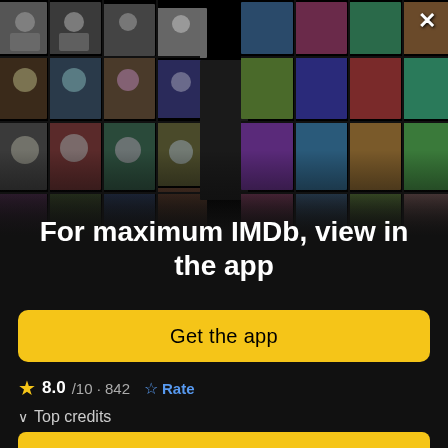[Figure (photo): Collage of actor/actress portraits and movie poster thumbnails arranged in a perspective grid on a black background, forming a V-shape vanishing point in the center]
For maximum IMDb, view in the app
Get the app
8.0/10 · 842  Rate
Top credits